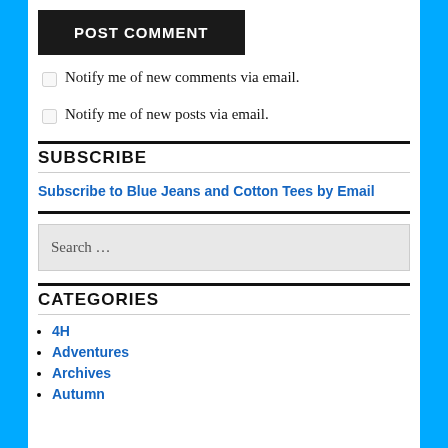POST COMMENT
Notify me of new comments via email.
Notify me of new posts via email.
SUBSCRIBE
Subscribe to Blue Jeans and Cotton Tees by Email
Search ...
CATEGORIES
4H
Adventures
Archives
Autumn